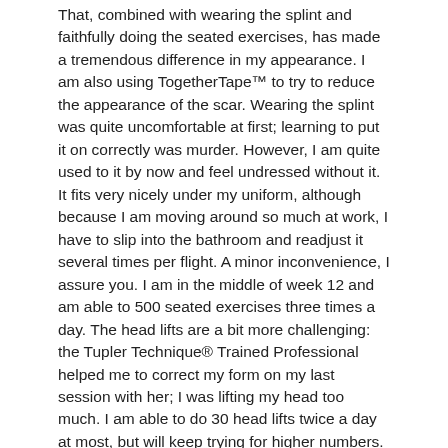That, combined with wearing the splint and faithfully doing the seated exercises, has made a tremendous difference in my appearance. I am also using TogetherTape™ to try to reduce the appearance of the scar. Wearing the splint was quite uncomfortable at first; learning to put it on correctly was murder. However, I am quite used to it by now and feel undressed without it. It fits very nicely under my uniform, although because I am moving around so much at work, I have to slip into the bathroom and readjust it several times per flight. A minor inconvenience, I assure you. I am in the middle of week 12 and am able to 500 seated exercises three times a day. The head lifts are a bit more challenging: the Tupler Technique® Trained Professional helped me to correct my form on my last session with her; I was lifting my head too much. I am able to do 30 head lifts twice a day at most, but will keep trying for higher numbers.
I never thought that at my age I could have such a slim appearance. I still can't believe it's me when I look in the mirror sometimes and psychology have had a few issues